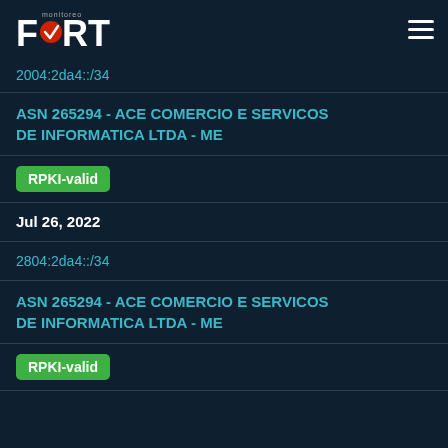FORT monitoreo
2004:2da4::/34
ASN 265294 - ACE COMERCIO E SERVICOS DE INFORMATICA LTDA - ME
RPKI-valid
Jul 26, 2022
2804:2da4::/34
ASN 265294 - ACE COMERCIO E SERVICOS DE INFORMATICA LTDA - ME
RPKI-valid